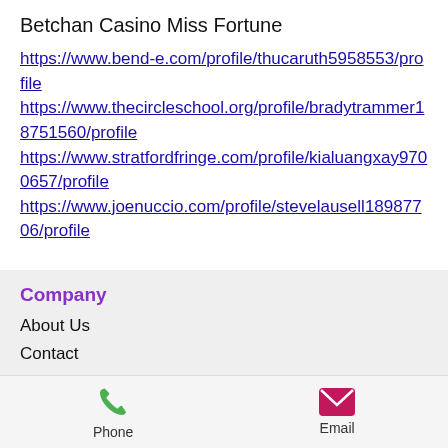Betchan Casino Miss Fortune
https://www.bend-e.com/profile/thucaruth5958553/profile
https://www.thecircleschool.org/profile/bradytrammer18751560/profile
https://www.stratfordfringe.com/profile/kialuangxay9700657/profile
https://www.joenuccio.com/profile/stevelausell18987706/profile
Company
About Us
Contact
How Zilment Works
FAQ
Zilment Partners
Referrals
Phone   Email